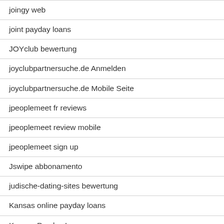joingy web
joint payday loans
JOYclub bewertung
joyclubpartnersuche.de Anmelden
joyclubpartnersuche.de Mobile Seite
jpeoplemeet fr reviews
jpeoplemeet review mobile
jpeoplemeet sign up
Jswipe abbonamento
judische-dating-sites bewertung
Kansas online payday loans
Kansas Payday Loan
Kansas payday loans online